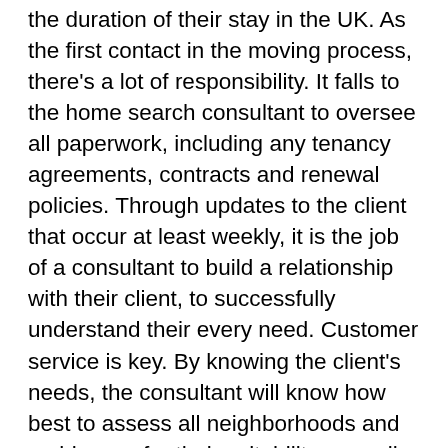the duration of their stay in the UK. As the first contact in the moving process, there's a lot of responsibility. It falls to the home search consultant to oversee all paperwork, including any tenancy agreements, contracts and renewal policies. Through updates to the client that occur at least weekly, it is the job of a consultant to build a relationship with their client, to successfully understand their every need. Customer service is key. By knowing the client's needs, the consultant will know how best to assess all neighborhoods and residences for their suitability, as well as how best to arrange transport of their personal effects to the property. Departure and arrival dates also fall within their line of responsibility – the